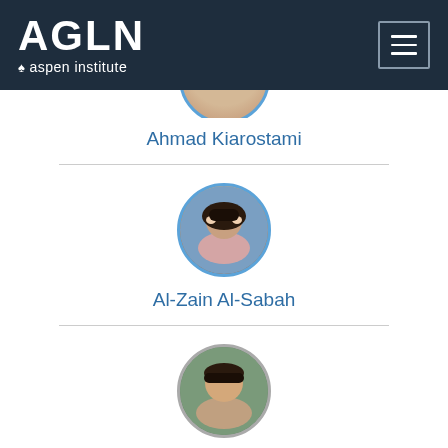[Figure (logo): AGLN Aspen Institute logo on dark navy header background with hamburger menu icon on the right]
[Figure (photo): Partially cropped circular profile photo of Ahmad Kiarostami at top of page]
Ahmad Kiarostami
[Figure (photo): Circular profile photo of Al-Zain Al-Sabah, a woman with dark hair]
Al-Zain Al-Sabah
[Figure (photo): Circular profile photo of Ami Dror, a man with short dark hair]
Ami Dror